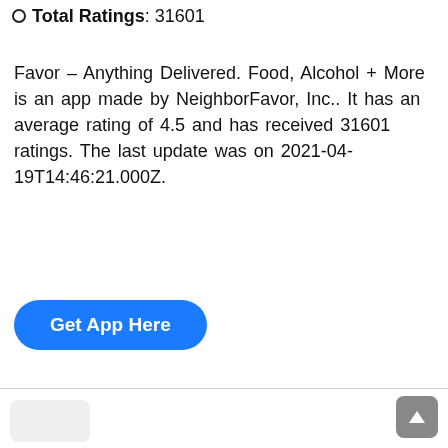Total Ratings: 31601
Favor – Anything Delivered. Food, Alcohol + More is an app made by NeighborFavor, Inc.. It has an average rating of 4.5 and has received 31601 ratings. The last update was on 2021-04-19T14:46:21.000Z.
[Figure (other): Blue rounded button labeled 'Get App Here']
[Figure (other): Partially visible icon or image at the bottom left, light gray silhouette shape]